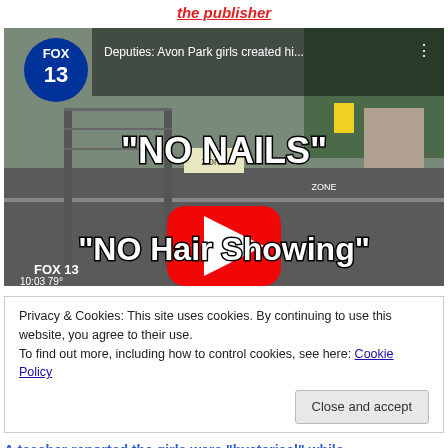the publisher
[Figure (screenshot): YouTube video thumbnail from FOX 13 showing a street scene with text overlays reading "NO NAILS" and "NO Hair Showing". A red YouTube play button is centered. FOX 13 logo appears top-left and bottom-left with timestamp 10:03 and 79°.]
Privacy & Cookies: This site uses cookies. By continuing to use this website, you agree to their use.
To find out more, including how to control cookies, see here: Cookie Policy
Close and accept
A teacher reported the girls were "hysterical" while